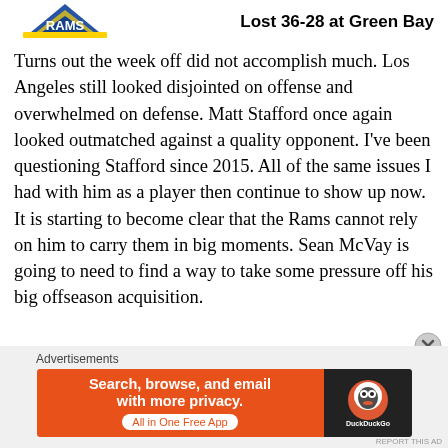[Figure (logo): LA Rams logo (partial, top-left)]
Lost 36-28 at Green Bay
Turns out the week off did not accomplish much. Los Angeles still looked disjointed on offense and overwhelmed on defense. Matt Stafford once again looked outmatched against a quality opponent. I've been questioning Stafford since 2015. All of the same issues I had with him as a player then continue to show up now. It is starting to become clear that the Rams cannot rely on him to carry them in big moments. Sean McVay is going to need to find a way to take some pressure off his big offseason acquisition.
Advertisements
[Figure (screenshot): DuckDuckGo advertisement banner: 'Search, browse, and email with more privacy. All in One Free App' on orange background with DuckDuckGo logo on dark background]